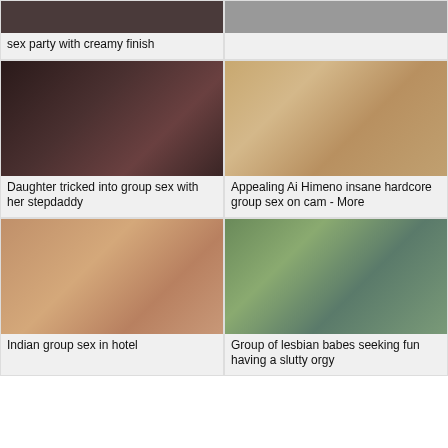[Figure (photo): Partial video thumbnail top left - dark toned image]
sex party with creamy finish
[Figure (photo): Partial video thumbnail top right - light toned image]
[Figure (photo): Video thumbnail - Daughter tricked into group sex with her stepdaddy]
Daughter tricked into group sex with her stepdaddy
[Figure (photo): Video thumbnail - Appealing Ai Himeno insane hardcore group sex on cam - More]
Appealing Ai Himeno insane hardcore group sex on cam - More
[Figure (photo): Video thumbnail - Indian group sex in hotel]
Indian group sex in hotel
[Figure (photo): Video thumbnail - Group of lesbian babes seeking fun having a slutty orgy]
Group of lesbian babes seeking fun having a slutty orgy